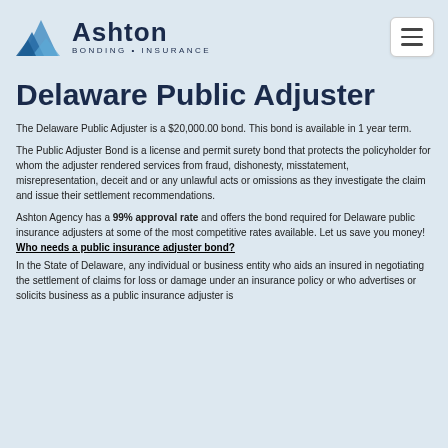Ashton Bonding • Insurance
Delaware Public Adjuster
The Delaware Public Adjuster is a $20,000.00 bond. This bond is available in 1 year term.
The Public Adjuster Bond is a license and permit surety bond that protects the policyholder for whom the adjuster rendered services from fraud, dishonesty, misstatement, misrepresentation, deceit and or any unlawful acts or omissions as they investigate the claim and issue their settlement recommendations.
Ashton Agency has a 99% approval rate and offers the bond required for Delaware public insurance adjusters at some of the most competitive rates available. Let us save you money!
Who needs a public insurance adjuster bond?
In the State of Delaware, any individual or business entity who aids an insured in negotiating the settlement of claims for loss or damage under an insurance policy or who advertises or solicits business as a public insurance adjuster is